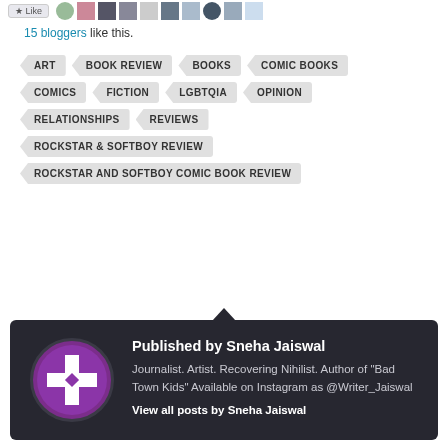15 bloggers like this.
ART
BOOK REVIEW
BOOKS
COMIC BOOKS
COMICS
FICTION
LGBTQIA
OPINION
RELATIONSHIPS
REVIEWS
ROCKSTAR & SOFTBOY REVIEW
ROCKSTAR AND SOFTBOY COMIC BOOK REVIEW
Published by Sneha Jaiswal
Journalist. Artist. Recovering Nihilist. Author of "Bad Town Kids" Available on Instagram as @Writer_Jaiswal
View all posts by Sneha Jaiswal